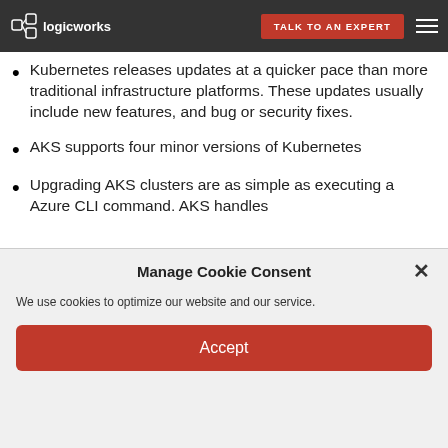Kubernetes Cluster Updates — logicworks | TALK TO AN EXPERT
Kubernetes releases updates at a quicker pace than more traditional infrastructure platforms. These updates usually include new features, and bug or security fixes.
AKS supports four minor versions of Kubernetes
Upgrading AKS clusters are as simple as executing a Azure CLI command. AKS handles
Manage Cookie Consent
We use cookies to optimize our website and our service.
Accept